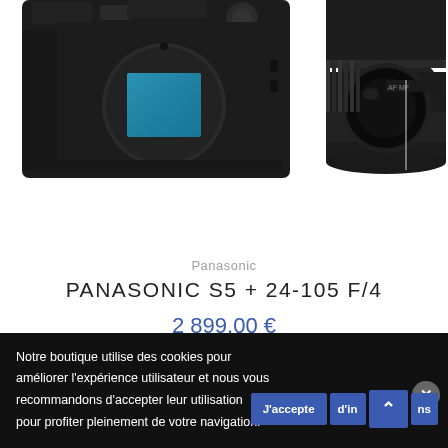[Figure (photo): Panasonic S5 camera body (mirrorless, black) shown without lens, sensor visible]
[Figure (photo): Panasonic 24-105 F/4 lens (black) shown from front/side angle]
Panasonic
PANASONIC S5 + 24-105 F/4
2 899,00 €
AJOUTER AU PANIER
Notre boutique utilise des cookies pour améliorer l'expérience utilisateur et nous vous recommandons d'accepter leur utilisation pour profiter pleinement de votre navigation.